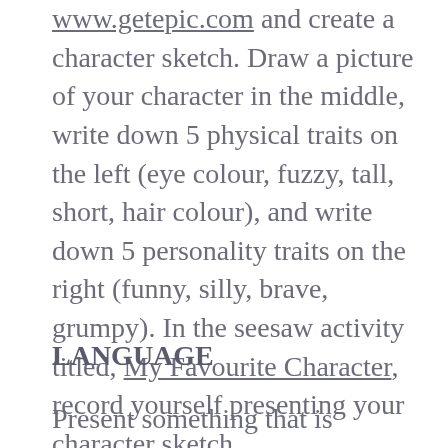www.getepic.com and create a character sketch. Draw a picture of your character in the middle, write down 5 physical traits on the left (eye colour, fuzzy, tall, short, hair colour), and write down 5 personality traits on the right (funny, silly, brave, grumpy). In the seesaw activity titled, My Favourite Character, record yourself presenting your character sketch.
LANGUAGE
Present something that is important to